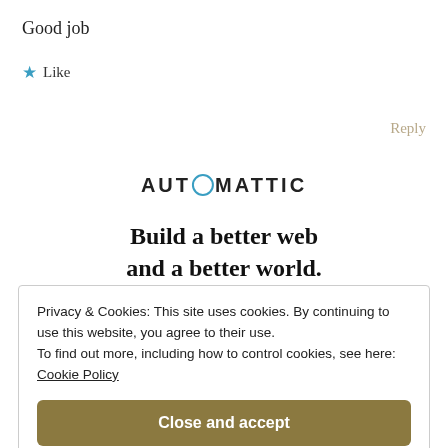Good job
★ Like
Reply
[Figure (logo): Automattic logo with circular 'O' in teal/blue]
Build a better web and a better world.
Privacy & Cookies: This site uses cookies. By continuing to use this website, you agree to their use.
To find out more, including how to control cookies, see here:
Cookie Policy
Close and accept